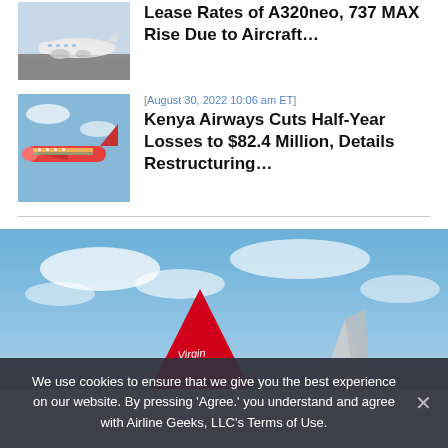[Figure (photo): Airplane on tarmac, white commercial aircraft]
Lease Rates of A320neo, 737 MAX Rise Due to Aircraft…
[August 30, 2022 10:06 am ET]
[Figure (photo): Colorful aircraft in flight, Kenya Airways livery]
Kenya Airways Cuts Half-Year Losses to $82.4 Million, Details Restructuring…
[Figure (photo): Wide article photo showing Virgin Atlantic aircraft tail fin (red) and another aircraft tail against blue sky with clouds]
We use cookies to ensure that we give you the best experience on our website. By pressing 'Agree.' you understand and agree with Airline Geeks, LLC's Terms of Use.